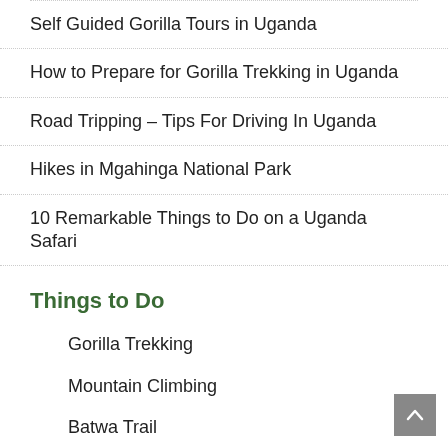Self Guided Gorilla Tours in Uganda
How to Prepare for Gorilla Trekking in Uganda
Road Tripping – Tips For Driving In Uganda
Hikes in Mgahinga National Park
10 Remarkable Things to Do on a Uganda Safari
Things to Do
Gorilla Trekking
Mountain Climbing
Batwa Trail